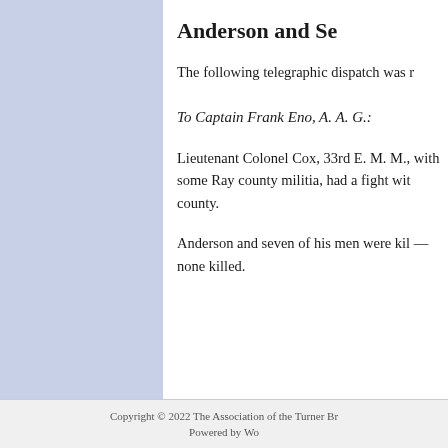Anderson and Se
The following telegraphic dispatch was r
To Captain Frank Eno, A. A. G.:
Lieutenant Colonel Cox, 33rd E. M. M., with some Ray county militia, had a fight wit county.
Anderson and seven of his men were kil —none killed.
Copyright © 2022 The Association of the Turner Br Powered by Wo